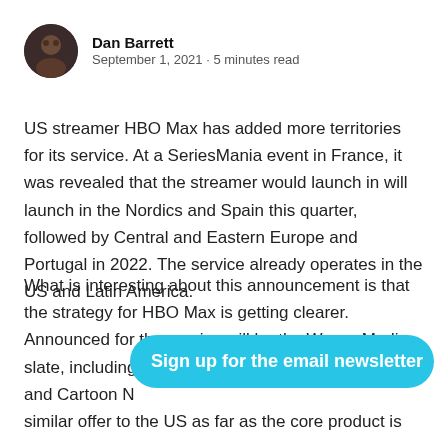Dan Barrett
September 1, 2021 · 5 minutes read
US streamer HBO Max has added more territories for its service. At a SeriesMania event in France, it was revealed that the streamer would launch in will launch in the Nordics and Spain this quarter, followed by Central and Eastern Europe and Portugal in 2022. The service already operates in the US and Latin America.
What is interesting about this announcement is that the strategy for HBO Max is getting clearer. Announced for the service will be the WarnerMedia slate, including and Cartoon N... similar offer to the US as far as the core product is
[Figure (other): Sign up for the email newsletter button — a cyan/blue rounded pill-shaped button with envelope icon and text 'Sign up for the email newsletter']